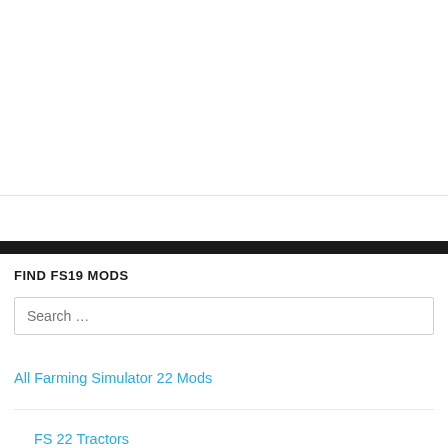FIND FS19 MODS
Search …
All Farming Simulator 22 Mods
FS 22 Tractors
FS 22 Combines
FS 22 Maps